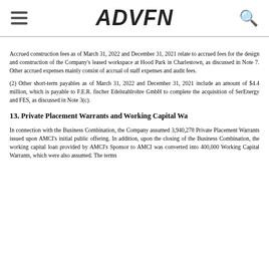ADVFN
Accrued construction fees as of March 31, 2022 and December 31, 2021 relate to accrued fees for the design and construction of the Company's leased workspace at Hood Park in Charlestown, as discussed in Note 7. Other accrued expenses mainly consist of accrual of staff expenses and audit fees.
(2) Other short-term payables as of March 31, 2022 and December 31, 2021 include an amount of $4.4 million, which is payable to F.E.R. fischer Edelstahlrohre GmbH to complete the acquisition of SerEnergy and FES, as discussed in Note 3(c).
13. Private Placement Warrants and Working Capital Wa
In connection with the Business Combination, the Company assumed 3,940,278 Private Placement Warrants issued upon AMCI's initial public offering. In addition, upon the closing of the Business Combination, the working capital loan provided by AMCI's Sponsor to AMCI was converted into 400,000 Working Capital Warrants, which were also assumed. The terms